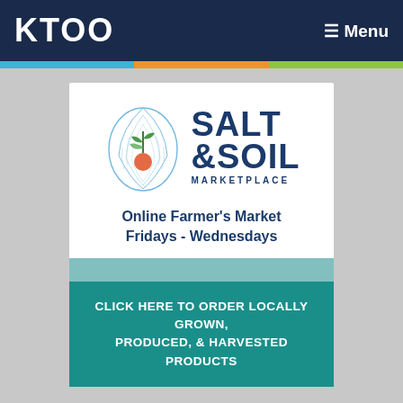KTOO   ≡ Menu
[Figure (logo): Salt & Soil Marketplace logo with oyster shell illustration containing a plant/beet, alongside bold text reading SALT & SOIL MARKETPLACE]
Online Farmer's Market
Fridays - Wednesdays
CLICK HERE TO ORDER LOCALLY GROWN, PRODUCED, & HARVESTED PRODUCTS
KTOO thanks our sponsors
Become a sponsor
KTOO Links